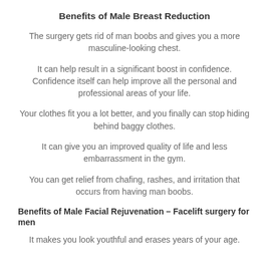Benefits of Male Breast Reduction
The surgery gets rid of man boobs and gives you a more masculine-looking chest.
It can help result in a significant boost in confidence. Confidence itself can help improve all the personal and professional areas of your life.
Your clothes fit you a lot better, and you finally can stop hiding behind baggy clothes.
It can give you an improved quality of life and less embarrassment in the gym.
You can get relief from chafing, rashes, and irritation that occurs from having man boobs.
Benefits of Male Facial Rejuvenation – Facelift surgery for men
It makes you look youthful and erases years of your age.